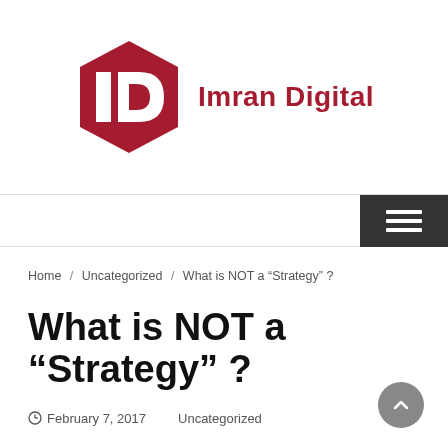[Figure (logo): Imran Digital logo: red hexagonal 'ID' monogram with bold red text 'Imran Digital' to the right]
Navigation bar with hamburger menu button
Home / Uncategorized / What is NOT a “Strategy” ?
What is NOT a “Strategy” ?
© February 7, 2017    Uncategorized